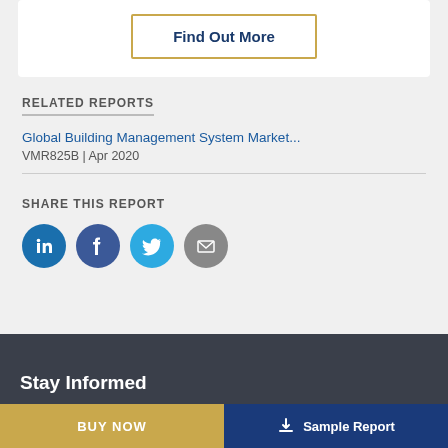Find Out More
RELATED REPORTS
Global Building Management System Market...
VMR825B | Apr 2020
SHARE THIS REPORT
[Figure (infographic): Social share icons: LinkedIn, Facebook, Twitter, Email]
Stay Informed
BUY NOW
Sample Report